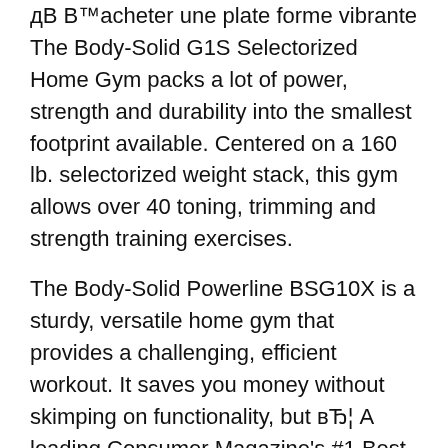дВ В™acheter une plate forme vibrante The Body-Solid G1S Selectorized Home Gym packs a lot of power, strength and durability into the smallest footprint available. Centered on a 160 lb. selectorized weight stack, this gym allows over 40 toning, trimming and strength training exercises.
The Body-Solid Powerline BSG10X is a sturdy, versatile home gym that provides a challenging, efficient workout. It saves you money without skimping on functionality, but вЂ¦ A leading Consumer Magazine's #1 Best Buy for Home Gyms! - EXM1500S - EXM1500S Home Gym
Body-SolidВ® UK Official Site - BODY SOLID UK AUTHORISED DISTRIBUTOR founded in 1996.